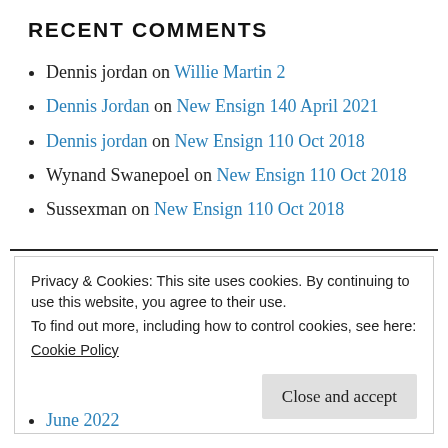RECENT COMMENTS
Dennis jordan on Willie Martin 2
Dennis Jordan on New Ensign 140 April 2021
Dennis jordan on New Ensign 110 Oct 2018
Wynand Swanepoel on New Ensign 110 Oct 2018
Sussexman on New Ensign 110 Oct 2018
Privacy & Cookies: This site uses cookies. By continuing to use this website, you agree to their use.
To find out more, including how to control cookies, see here:
Cookie Policy

Close and accept
June 2022